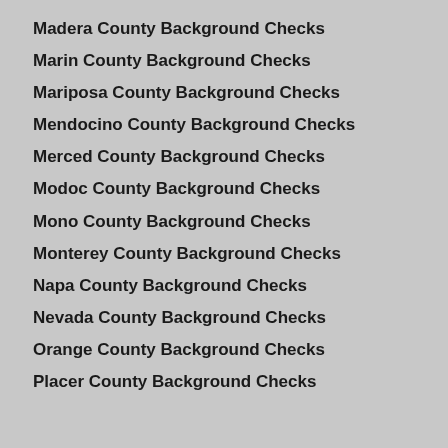Madera County Background Checks
Marin County Background Checks
Mariposa County Background Checks
Mendocino County Background Checks
Merced County Background Checks
Modoc County Background Checks
Mono County Background Checks
Monterey County Background Checks
Napa County Background Checks
Nevada County Background Checks
Orange County Background Checks
Placer County Background Checks